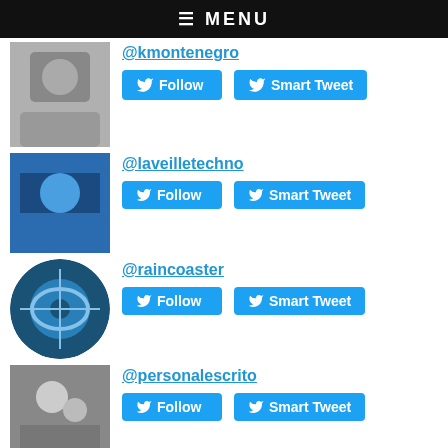≡ MENU
@kmontenegro
@laveilletechno
@raincoaster
@personalescrito
@rattibha
@warriors_mom
@rdsweb
@adeyemoadekunl2